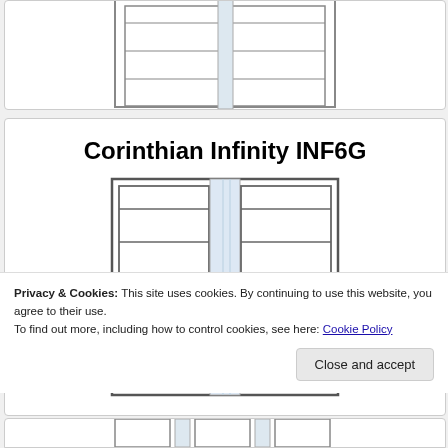[Figure (engineering-diagram): Partial top view of a door/window panel diagram, cropped at top]
Corinthian Infinity INF6G
[Figure (engineering-diagram): Technical line drawing of Corinthian Infinity INF6G sliding door with two panels showing horizontal rails and frame structure]
Privacy & Cookies: This site uses cookies. By continuing to use this website, you agree to their use.
To find out more, including how to control cookies, see here: Cookie Policy
Close and accept
[Figure (engineering-diagram): Partial bottom view of another door panel diagram, cropped at bottom of page]